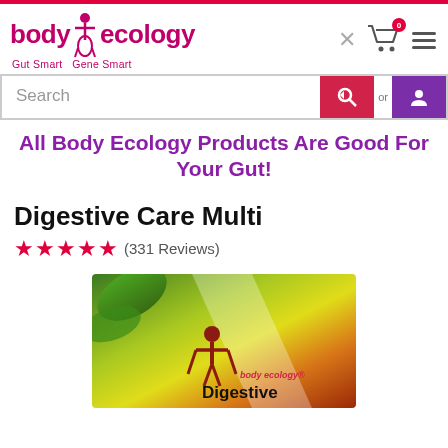body ecology Gut Smart Gene Smart
Search
All Body Ecology Products Are Good For Your Gut!
Digestive Care Multi
★★★★★ (331 Reviews)
[Figure (photo): Product image of Body Ecology Digestive Care Multi supplement box with colorful green, yellow, and red nature background with the body ecology logo and product name 'Digestive' visible at bottom.]